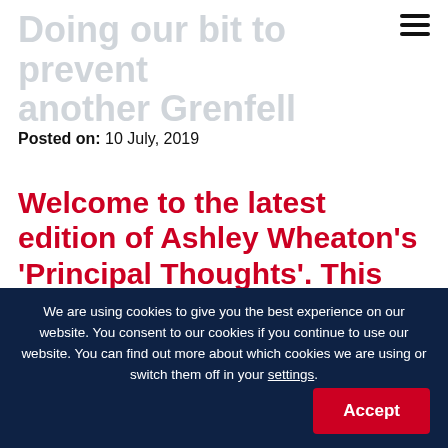Doing our bit to prevent another Grenfell
Posted on: 10 July, 2019
Welcome to the latest edition of Ashley Wheaton's 'Principal Thoughts'. This month, Ashley discusses the launch of UCEM's new BSc (Hons) Building Control programme and the impact this can have on equipping
We are using cookies to give you the best experience on our website. You consent to our cookies if you continue to use our website. You can find out more about which cookies we are using or switch them off in your settings.